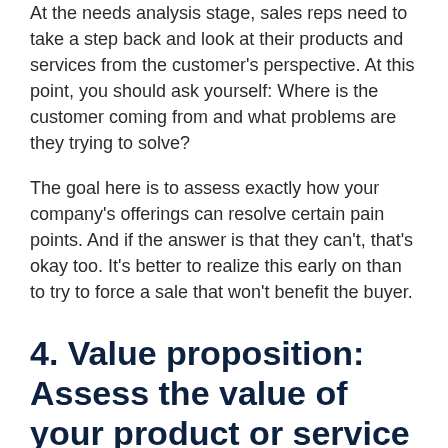At the needs analysis stage, sales reps need to take a step back and look at their products and services from the customer's perspective. At this point, you should ask yourself: Where is the customer coming from and what problems are they trying to solve?
The goal here is to assess exactly how your company's offerings can resolve certain pain points. And if the answer is that they can't, that's okay too. It's better to realize this early on than to try to force a sale that won't benefit the buyer.
4. Value proposition: Assess the value of your product or service